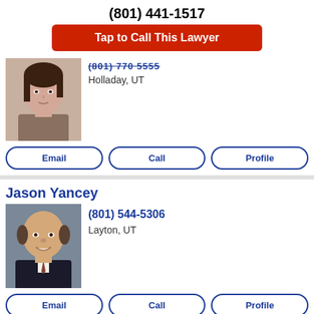(801) 441-1517
Tap to Call This Lawyer
[Figure (photo): Headshot of a female lawyer with dark hair, wearing a brown jacket]
Holladay, UT
Email
Call
Profile
Jason Yancey
[Figure (photo): Headshot of a bald male lawyer smiling, wearing a dark suit]
(801) 544-5306
Layton, UT
Email
Call
Profile
Christopher J. Salcido